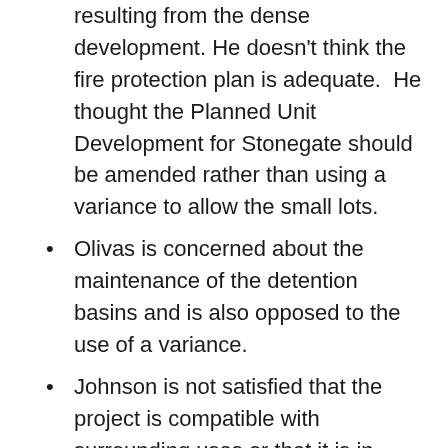resulting from the dense development. He doesn't think the fire protection plan is adequate. He thought the Planned Unit Development for Stonegate should be amended rather than using a variance to allow the small lots.
Olivas is concerned about the maintenance of the detention basins and is also opposed to the use of a variance.
Johnson is not satisfied that the project is compatible with surrounding uses or that it is in conformance with the master plan.
The votes …
Approving the tentative map (5-1): Velto, Taylor, Hawkins, Johnson, Olivas